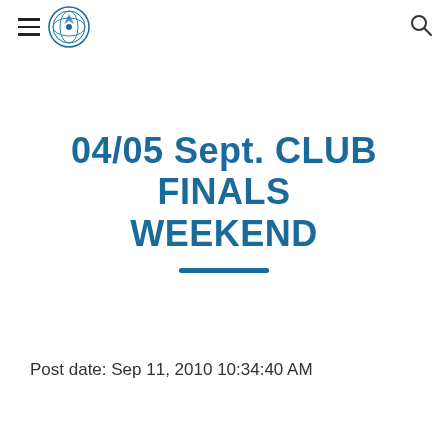04/05 Sept. CLUB FINALS WEEKEND
04/05 Sept. CLUB FINALS WEEKEND
Post date: Sep 11, 2010 10:34:40 AM